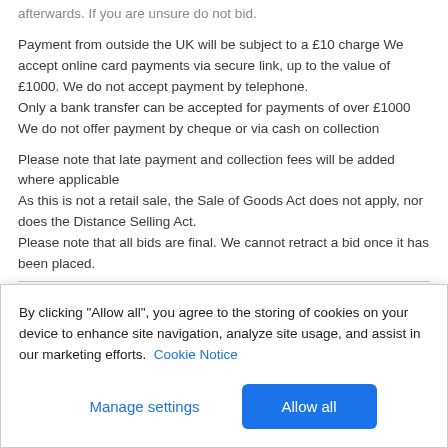afterwards. If you are unsure do not bid.

Payment from outside the UK will be subject to a £10 charge We accept online card payments via secure link, up to the value of £1000. We do not accept payment by telephone.
Only a bank transfer can be accepted for payments of over £1000
We do not offer payment by cheque or via cash on collection

Please note that late payment and collection fees will be added where applicable
As this is not a retail sale, the Sale of Goods Act does not apply, nor does the Distance Selling Act.
Please note that all bids are final. We cannot retract a bid once it has been placed.
Terms & Conditions
Terms and Conditions and Conditions...
By clicking "Allow all", you agree to the storing of cookies on your device to enhance site navigation, analyze site usage, and assist in our marketing efforts. Cookie Notice